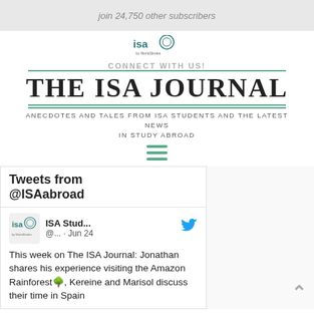join 24,750 other subscribers
[Figure (logo): ISA (by WorldStrides) logo - circular logo with 'isa' text and 'by WorldStrides' below]
CONNECT WITH US!
THE ISA JOURNAL
ANECDOTES AND TALES FROM ISA STUDENTS AND THE LATEST NEWS IN STUDY ABROAD
[Figure (other): Hamburger menu icon with three horizontal green lines]
Tweets from @ISAabroad
ISA Stud... @... · Jun 24
This week on The ISA Journal: Jonathan shares his experience visiting the Amazon Rainforest 🌳, Kereine and Marisol discuss their time in Spain